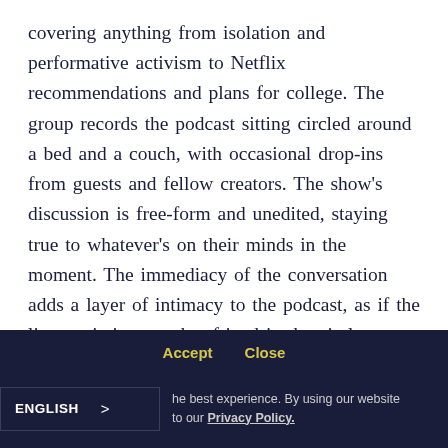covering anything from isolation and performative activism to Netflix recommendations and plans for college. The group records the podcast sitting circled around a bed and a couch, with occasional drop-ins from guests and fellow creators. The show’s discussion is free-form and unedited, staying true to whatever’s on their minds in the moment. The immediacy of the conversation adds a layer of intimacy to the podcast, as if the listener is just another friend in the circle, processing problems like anyone else. It’s the
Accept  Close  We ... he best experience. By using our website to our Privacy Policy.  ENGLISH >